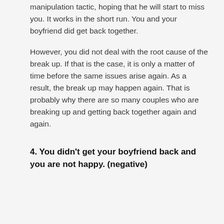manipulation tactic, hoping that he will start to miss you. It works in the short run. You and your boyfriend did get back together.
However, you did not deal with the root cause of the break up. If that is the case, it is only a matter of time before the same issues arise again. As a result, the break up may happen again. That is probably why there are so many couples who are breaking up and getting back together again and again.
4. You didn't get your boyfriend back and you are not happy. (negative)